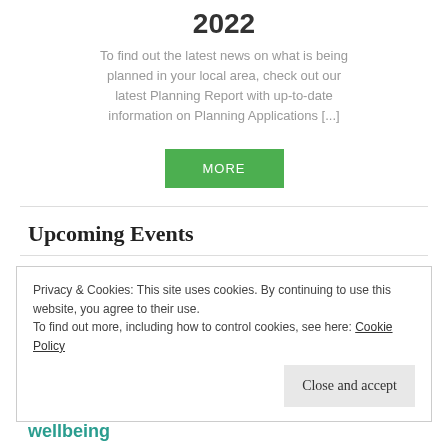2022
To find out the latest news on what is being planned in your local area, check out our latest Planning Report with up-to-date information on Planning Applications [...]
MORE
Upcoming Events
Privacy & Cookies: This site uses cookies. By continuing to use this website, you agree to their use.
To find out more, including how to control cookies, see here: Cookie Policy
Close and accept
wellbeing